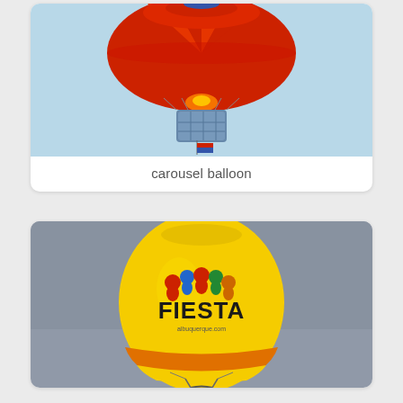[Figure (photo): Red hot air balloon photographed from below against a light blue sky, showing the colorful envelope and basket with passengers]
carousel balloon
[Figure (photo): Yellow hot air balloon with FIESTA branding and colorful logo against a grey sky]